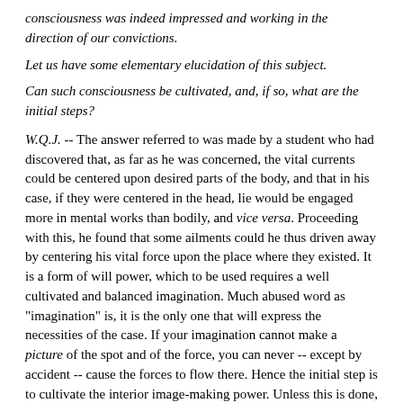consciousness was indeed impressed and working in the direction of our convictions.
Let us have some elementary elucidation of this subject.
Can such consciousness be cultivated, and, if so, what are the initial steps?
W.Q.J. -- The answer referred to was made by a student who had discovered that, as far as he was concerned, the vital currents could be centered upon desired parts of the body, and that in his case, if they were centered in the head, lie would be engaged more in mental works than bodily, and vice versa. Proceeding with this, he found that some ailments could he thus driven away by centering his vital force upon the place where they existed. It is a form of will power, which to be used requires a well cultivated and balanced imagination. Much abused word as "imagination" is, it is the only one that will express the necessities of the case. If your imagination cannot make a picture of the spot and of the force, you can never -- except by accident -- cause the forces to flow there. Hence the initial step is to cultivate the interior image-making power. Unless this is done, the will in these planes can hardly be directed to its end, for with no image the forces have no place to focus upon; and it is a huge error to suppose that scientists are right in saying that imagination is a useless, although perhaps pleasant,